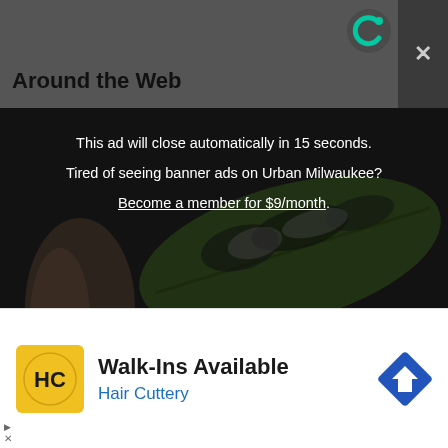Around the Web
[Figure (screenshot): Screenshot of an ad overlay on a website. Top dark grey bar reads 'Around the Web' with Outbrain logo and X close button. Main area shows a dark image of a hand holding a leaf with overlay text: 'This ad will close automatically in 15 seconds. Tired of seeing banner ads on Urban Milwaukee? Become a member for $9/month.' A chevron down button appears bottom left. Below is a white ad bar for Hair Cuttery showing 'Walk-Ins Available' with yellow HC logo and blue navigation arrow icon.]
This ad will close automatically in 15 seconds.
Tired of seeing banner ads on Urban Milwaukee?
Become a member for $9/month.
Walk-Ins Available
Hair Cuttery